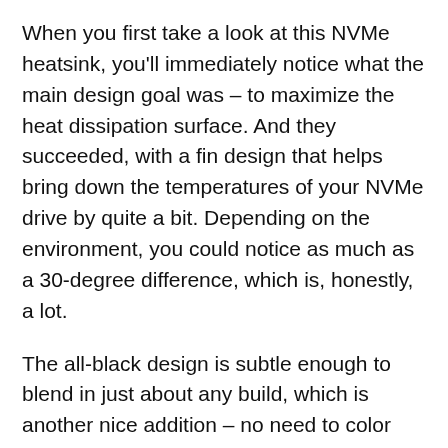When you first take a look at this NVMe heatsink, you'll immediately notice what the main design goal was – to maximize the heat dissipation surface. And they succeeded, with a fin design that helps bring down the temperatures of your NVMe drive by quite a bit. Depending on the environment, you could notice as much as a 30-degree difference, which is, honestly, a lot.
The all-black design is subtle enough to blend in just about any build, which is another nice addition – no need to color coordinate anything here. While we're at the design, it's worth mentioning that this is a double-sided heat sink, so you can have just about any M.2 SSD inside